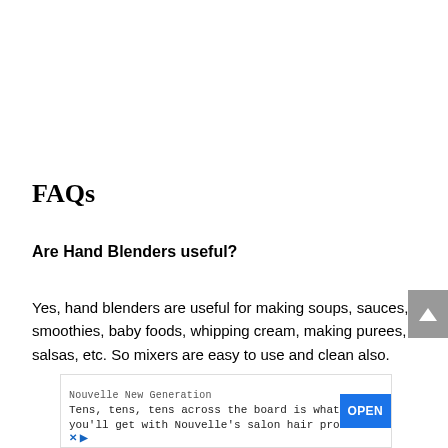FAQs
Are Hand Blenders useful?
Yes, hand blenders are useful for making soups, sauces, smoothies, baby foods, whipping cream, making purees, salsas, etc. So mixers are easy to use and clean also.
[Figure (other): Advertisement banner for Nouvelle New Generation salon hair products with an OPEN button]